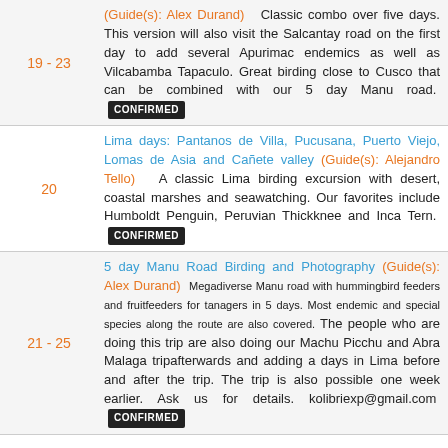19 - 23: (Guide(s): Alex Durand) Classic combo over five days. This version will also visit the Salcantay road on the first day to add several Apurimac endemics as well as Vilcabamba Tapaculo. Great birding close to Cusco that can be combined with our 5 day Manu road. CONFIRMED
20: Lima days: Pantanos de Villa, Pucusana, Puerto Viejo, Lomas de Asia and Cañete valley (Guide(s): Alejandro Tello) A classic Lima birding excursion with desert, coastal marshes and seawatching. Our favorites include Humboldt Penguin, Peruvian Thickknee and Inca Tern. CONFIRMED
21 - 25: 5 day Manu Road Birding and Photography (Guide(s): Alex Durand) Megadiverse Manu road with hummingbird feeders and fruitfeeders for tanagers in 5 days. Most endemic and special species along the route are also covered. The people who are doing this trip are also doing our Machu Picchu and Abra Malaga tripafterwards and adding a days in Lima before and after the trip. The trip is also possible one week earlier. Ask us for details. kolibriexp@gmail.com CONFIRMED